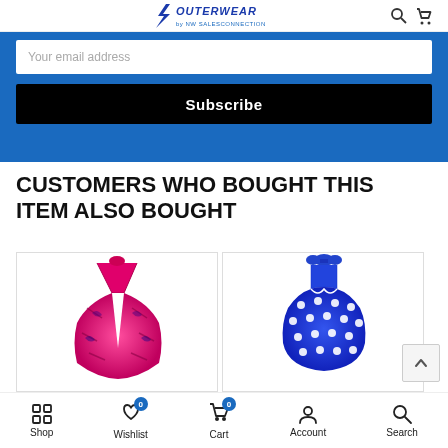OUTERWEAR by NW SALESCONNECTION
Your email address
Subscribe
CUSTOMERS WHO BOUGHT THIS ITEM ALSO BOUGHT
[Figure (photo): Pink/magenta animal print halter-neck one-piece swimsuit]
[Figure (photo): Blue polka dot halter-neck swimsuit/tankini]
Shop | Wishlist 0 | Cart 0 | Account | Search